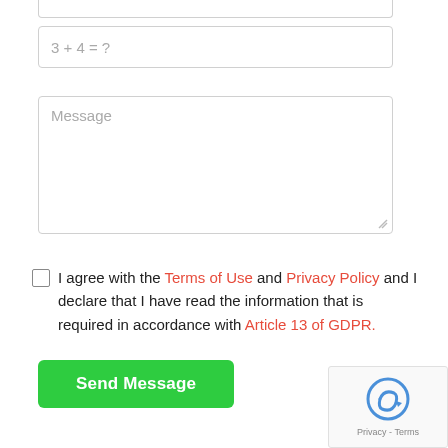[Figure (screenshot): Partial input box at top of page (cropped)]
3 + 4 = ?
Message
I agree with the Terms of Use and Privacy Policy and I declare that I have read the information that is required in accordance with Article 13 of GDPR.
Send Message
[Figure (logo): reCAPTCHA widget with Privacy and Terms links]